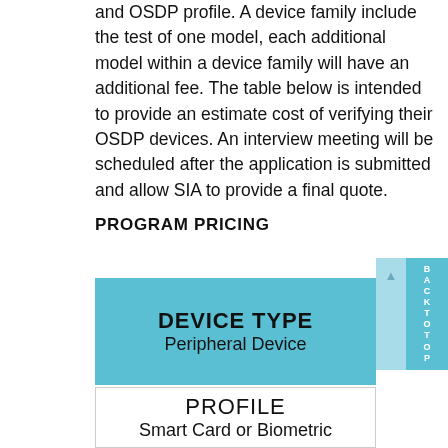and OSDP profile. A device family include the test of one model, each additional model within a device family will have an additional fee. The table below is intended to provide an estimate cost of verifying their OSDP devices. An interview meeting will be scheduled after the application is submitted and allow SIA to provide a final quote.
PROGRAM PRICING
| DEVICE TYPE | PROFILE |
| --- | --- |
| Peripheral Device | Smart Card or Biometric |